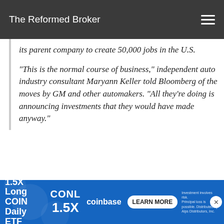The Reformed Broker
its parent company to create 50,000 jobs in the U.S. “This is the normal course of business,” independent auto industry consultant Maryann Keller told Bloomberg of the moves by GM and other automakers. “All they’re doing is announcing investments that they would have made anyway.”
Trump is media savvy enough to understand that the specifics don’t really matter. Americans consume news w… ates we’re t…
[Figure (other): Advertisement banner for CONL 1.5X Long COIN Daily ETF on coinbase with LEARN MORE button]